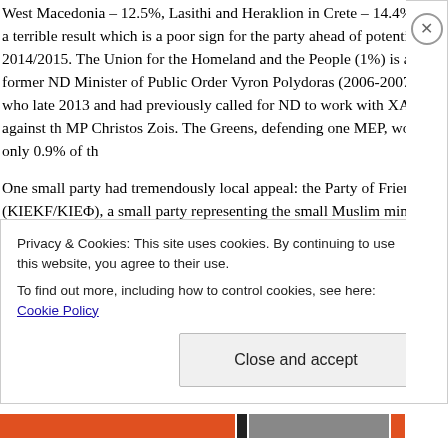West Macedonia – 12.5%, Lasithi and Heraklion in Crete – 14.4% and a terrible result which is a poor sign for the party ahead of potential e 2014/2015. The Union for the Homeland and the People (1%) is a new former ND Minister of Public Order Vyron Polydoras (2006-2007), who late 2013 and had previously called for ND to work with XA against th MP Christos Zois. The Greens, defending one MEP, won only 0.9% of th
One small party had tremendously local appeal: the Party of Friendshi (KIEKF/KIEΦ), a small party representing the small Muslim minority in Pomak) and which had at least one MP in the Parliament between 19 with PASOK (or ND, in 2004) but lost its seats after supporting DISY in June 2012. The party won 0.75% nationally, but won 41.7% in Rhodop majority Muslim) and 25.9% in Xanthi prefecture (which has a very lar Thrace. Except limited support in Evros (1.5%), the party won only 17. outside of those three prefectures!
Privacy & Cookies: This site uses cookies. By continuing to use this website, you agree to their use.
To find out more, including how to control cookies, see here: Cookie Policy